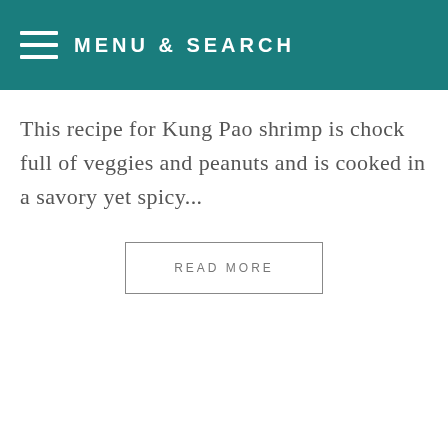MENU & SEARCH
This recipe for Kung Pao shrimp is chock full of veggies and peanuts and is cooked in a savory yet spicy...
READ MORE